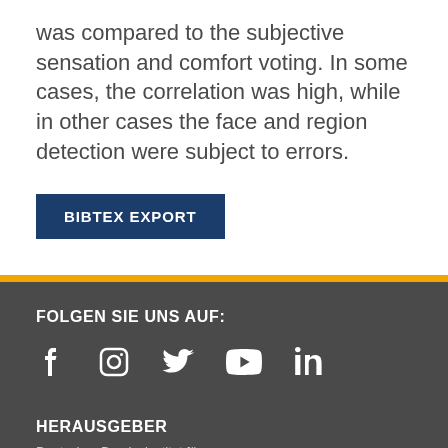was compared to the subjective sensation and comfort voting. In some cases, the correlation was high, while in other cases the face and region detection were subject to errors.
BIBTEX EXPORT
FOLGEN SIE UNS AUF:
[Figure (other): Social media icons: Facebook, Instagram, Twitter, YouTube, LinkedIn]
HERAUSGEBER